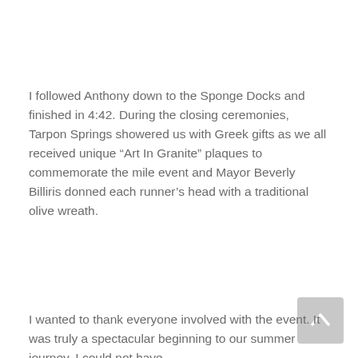I followed Anthony down to the Sponge Docks and finished in 4:42. During the closing ceremonies, Tarpon Springs showered us with Greek gifts as we all received unique “Art In Granite” plaques to commemorate the mile event and Mayor Beverly Billiris donned each runner’s head with a traditional olive wreath.
I wanted to thank everyone involved with the event. It was truly a spectacular beginning to our summer journey. I could not have